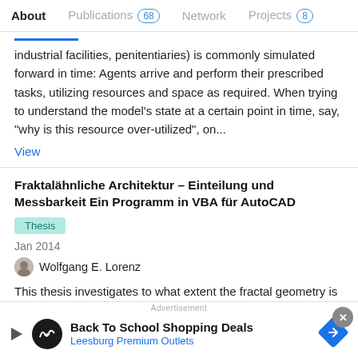About  Publications 68  Network  Projects 8
industrial facilities, penitentiaries) is commonly simulated forward in time: Agents arrive and perform their prescribed tasks, utilizing resources and space as required. When trying to understand the model's state at a certain point in time, say, "why is this resource over-utilized", on...
View
Fraktalähnliche Architektur – Einteilung und Messbarkeit Ein Programm in VBA für AutoCAD
Thesis
Jan 2014
Wolfgang E. Lorenz
This thesis investigates to what extent the fractal geometry is suitable for characterizing architecture. It describes the benefits of such an approach as opposed to a description by means of Euclidean geometry (which we have been familiar with for more...
Advertisement  Back To School Shopping Deals  Leesburg Premium Outlets